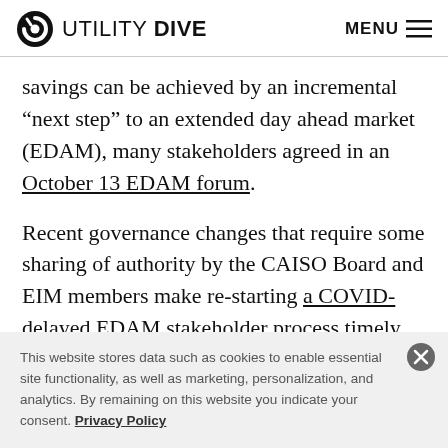UTILITY DIVE  MENU
savings can be achieved by an incremental “next step” to an extended day ahead market (EDAM), many stakeholders agreed in an October 13 EDAM forum.
Recent governance changes that require some sharing of authority by the CAISO Board and EIM members make re-starting a COVID-delayed EDAM stakeholder process timely, they also said.
This website stores data such as cookies to enable essential site functionality, as well as marketing, personalization, and analytics. By remaining on this website you indicate your consent. Privacy Policy